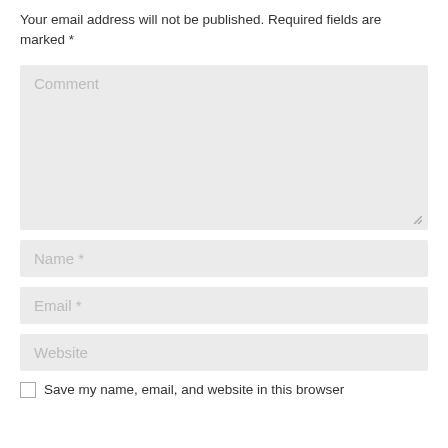Your email address will not be published. Required fields are marked *
[Figure (screenshot): Comment textarea input field with resize handle in bottom right corner]
[Figure (screenshot): Name required text input field]
[Figure (screenshot): Email required text input field]
[Figure (screenshot): Website text input field]
Save my name, email, and website in this browser